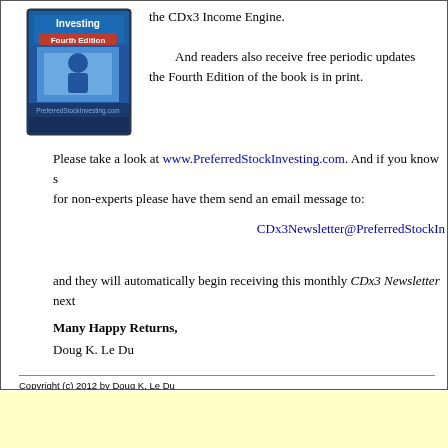[Figure (illustration): Book cover image for Preferred Stock Investing Fourth Edition from PreferredStockInvesting.com]
the CDx3 Income Engine.
And readers also receive free periodic updates the Fourth Edition of the book is in print.
Please take a look at www.PreferredStockInvesting.com. And if you know someone who is looking for non-experts please have them send an email message to:
CDx3Newsletter@PreferredStockIn...
and they will automatically begin receiving this monthly CDx3 Newsletter next
Many Happy Returns,
Doug K. Le Du
Copyright (c) 2012 by Doug K. Le Du
Preferred Stock List, CD Times 3, CDx3, CDx3 Income Engine, CDx3 Investor, CDx3 Portfolio, CD Table are trademarks of Doug K. Le Du.  All rights reserved.

Company logos are trademarks of the indicated companies. Service Marks (SM) are service mark

DISCLAIMER: The content of this CDx3 Newsletter is to be regarded as educational, rather than a generalizations that may be discussed herein. Consider your financial resources, goals and risk to responsible for your own investment decisions.